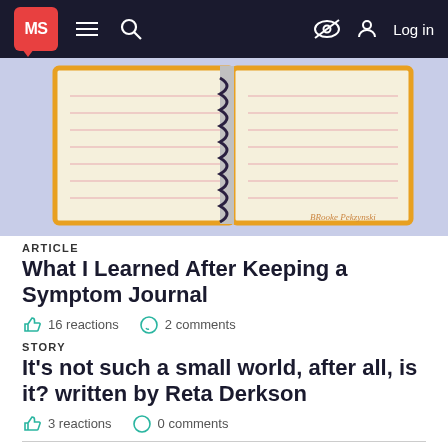MS | navigation bar with hamburger menu, search, eye-slash icon, and Log in
[Figure (illustration): Illustration of an open spiral-bound notebook with lined pages on a light purple background, signed 'Brooke Pekzynski']
ARTICLE
What I Learned After Keeping a Symptom Journal
16 reactions   2 comments
STORY
It's not such a small world, after all, is it? written by Reta Derkson
3 reactions   0 comments
This article represents the opinions, thoughts, and